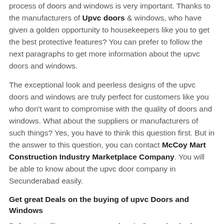process of doors and windows is very important. Thanks to the manufacturers of Upvc doors & windows, who have given a golden opportunity to housekeepers like you to get the best protective features? You can prefer to follow the next paragraphs to get more information about the upvc doors and windows.
The exceptional look and peerless designs of the upvc doors and windows are truly perfect for customers like you who don't want to compromise with the quality of doors and windows. What about the suppliers or manufacturers of such things? Yes, you have to think this question first. But in the answer to this question, you can contact McCoy Mart Construction Industry Marketplace Company. You will be able to know about the upvc door company in Secunderabad easily.
Get great Deals on the buying of upvc Doors and Windows
Before installing any new upvc door in Secunderabad you need to know about the available buying deals. The customers, who want to get affordable and profitable buying deals, can prefer to reach the highlighted company. This is a golden opportunity for customers like you to get the required upvc doors and windows. Your homes will look awesome and